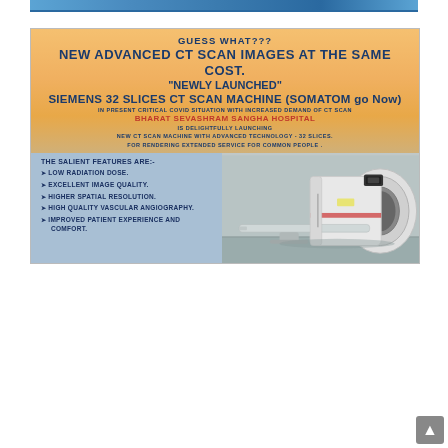[Figure (photo): Top banner strip showing partial photo of hospital or medical facility]
[Figure (infographic): Advertisement for Bharat Sevashram Sangha Hospital announcing new Siemens 32 Slices CT Scan Machine (SOMATOM go Now) with salient features listed: Low Radiation Dose, Excellent Image Quality, Higher Spatial Resolution, High Quality Vascular Angiography, Improved Patient Experience and Comfort. Includes photo of CT scan machine on right side.]
GUESS WHAT???
NEW ADVANCED CT SCAN IMAGES AT THE SAME COST.
"NEWLY LAUNCHED"
SIEMENS 32 SLICES CT SCAN MACHINE (SOMATOM go Now)
IN PRESENT CRITICAL COVID SITUATION WITH INCREASED DEMAND OF CT SCAN
BHARAT SEVASHRAM SANGHA HOSPITAL
IS DELIGHTFULLY LAUNCHING NEW CT SCAN MACHINE WITH ADVANCED TECHNOLOGY - 32 SLICES. FOR RENDERING EXTENDED SERVICE FOR COMMON PEOPLE .
THE SALIENT FEATURES ARE:-
LOW RADIATION DOSE.
EXCELLENT IMAGE QUALITY.
HIGHER SPATIAL RESOLUTION.
HIGH QUALITY VASCULAR ANGIOGRAPHY.
IMPROVED PATIENT EXPERIENCE AND COMFORT.